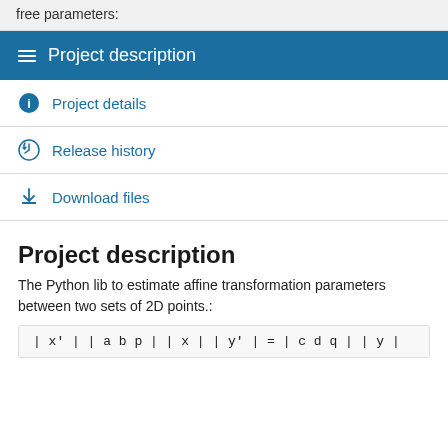free parameters:
Project description
Project details
Release history
Download files
Project description
The Python lib to estimate affine transformation parameters between two sets of 2D points.: